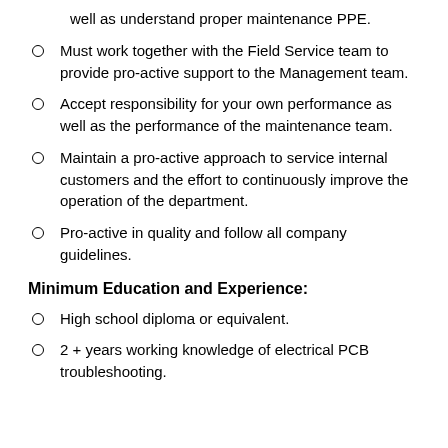well as understand proper maintenance PPE.
Must work together with the Field Service team to provide pro-active support to the Management team.
Accept responsibility for your own performance as well as the performance of the maintenance team.
Maintain a pro-active approach to service internal customers and the effort to continuously improve the operation of the department.
Pro-active in quality and follow all company guidelines.
Minimum Education and Experience:
High school diploma or equivalent.
2 + years working knowledge of electrical PCB troubleshooting.